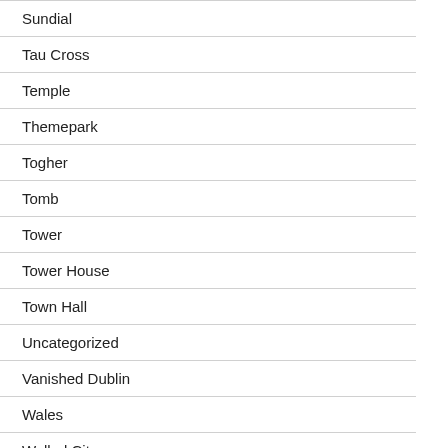Sundial
Tau Cross
Temple
Themepark
Togher
Tomb
Tower
Tower House
Town Hall
Uncategorized
Vanished Dublin
Wales
Walled City
Walled Garden
Wedge Tomb
Windmill